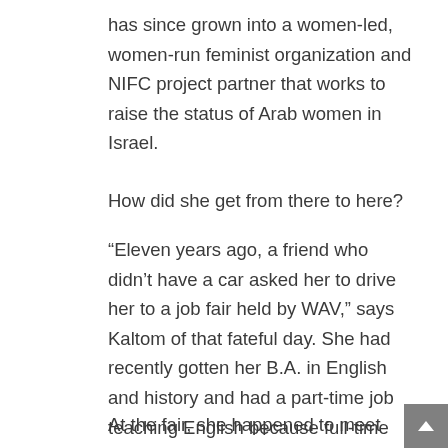has since grown into a women-led, women-run feminist organization and NIFC project partner that works to raise the status of Arab women in Israel.
How did she get from there to here?
“Eleven years ago, a friend who didn’t have a car asked her to drive her to a job fair held by WAV,” says Kaltom of that fateful day. She had recently gotten her B.A. in English and history and had a part-time job teaching English because full-time teaching jobs for Arab women were scarce. But she wanted economic independence.
At the fair, she happened to meet Aida Toumah-